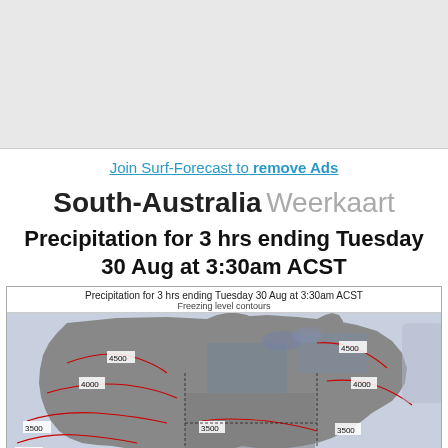[Figure (other): Top gray advertisement banner area]
Join Surf-Forecast to remove Ads
South-Australia Weerkaart
Precipitation for 3 hrs ending Tuesday 30 Aug at 3:30am ACST
[Figure (map): Precipitation weather map of Australia showing freezing level contours with red contour lines labeled 3000, 3500, 4000, 4500 meters over a terrain map. Title: Precipitation for 3 hrs ending Tuesday 30 Aug at 3:30am ACST. Subtitle: Freezing level contours.]